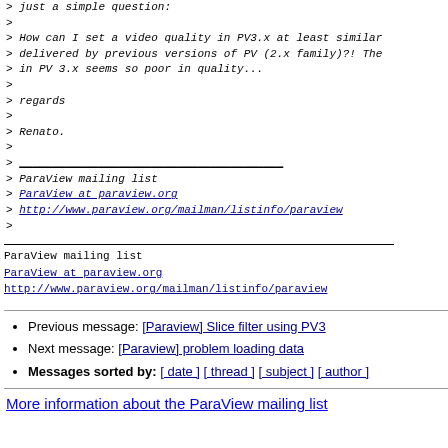> just a simple question:
>
> How can I set a video quality in PV3.x at least similar
> delivered by previous versions of PV (2.x family)?! The
> in PV 3.x seems so poor in quality...
>
> regards
>
> Renato.
>
> ________________________________________
> ParaView mailing list
> ParaView at paraview.org
> http://www.paraview.org/mailman/listinfo/paraview
>
________________________________________
ParaView mailing list
ParaView at paraview.org
http://www.paraview.org/mailman/listinfo/paraview
Previous message: [Paraview] Slice filter using PV3
Next message: [Paraview] problem loading data
Messages sorted by: [ date ] [ thread ] [ subject ] [ author ]
More information about the ParaView mailing list